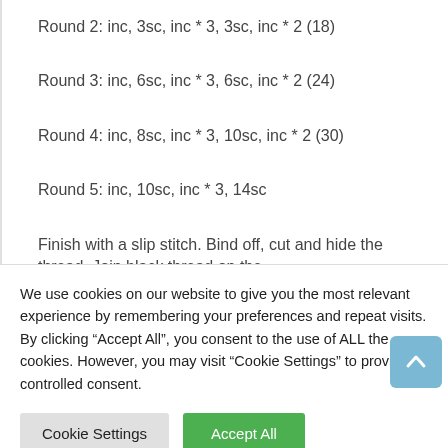Round 2: inc, 3sc, inc * 3, 3sc, inc * 2 (18)
Round 3: inc, 6sc, inc * 3, 6sc, inc * 2 (24)
Round 4: inc, 8sc, inc * 3, 10sc, inc * 2 (30)
Round 5: inc, 10sc, inc * 3, 14sc
Finish with a slip stitch. Bind off, cut and hide the thread. Join black thread on the
We use cookies on our website to give you the most relevant experience by remembering your preferences and repeat visits. By clicking “Accept All”, you consent to the use of ALL the cookies. However, you may visit “Cookie Settings” to provide a controlled consent.